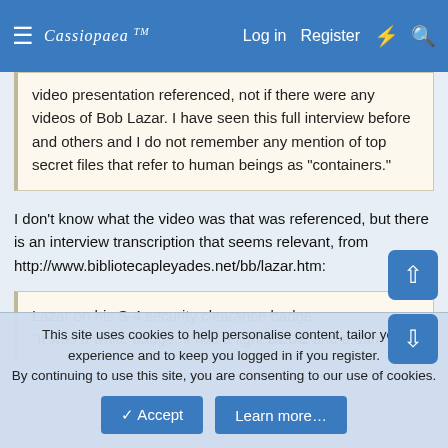Cassiopaea Log in Register
video presentation referenced, not if there were any videos of Bob Lazar. I have seen this full interview before and others and I do not remember any mention of top secret files that refer to human beings as "containers."
I don't know what the video was that was referenced, but there is an interview transcription that seems relevant, from http://www.bibliotecapleyades.net/bb/lazar.htm:
Lazar on his S-4 security clearance badge:
"It was a white badge. It has a light BLUE and a dark
This site uses cookies to help personalise content, tailor your experience and to keep you logged in if you register.
By continuing to use this site, you are consenting to our use of cookies.
Accept   Learn more...